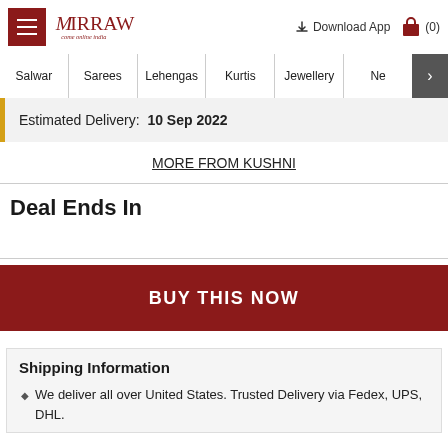MIRRAW — Download App (0)
Salwar | Sarees | Lehengas | Kurtis | Jewellery | Ne >
Estimated Delivery: 10 Sep 2022
MORE FROM KUSHNI
Deal Ends In
BUY THIS NOW
Shipping Information
We deliver all over United States. Trusted Delivery via Fedex, UPS, DHL.